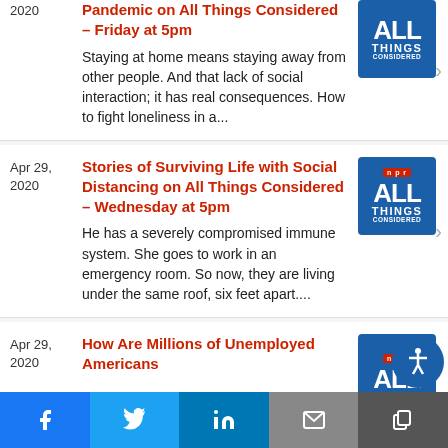2020 | Pandemic on All Things Considered – Friday at 5pm | Staying at home means staying away from other people. And that lack of social interaction; it has real consequences. How to fight loneliness in a...
Apr 29, 2020 | Stories of Surviving Life with Social Distancing on All Things Considered – Wednesday at 5pm | He has a severely compromised immune system. She goes to work in an emergency room. So now, they are living under the same roof, six feet apart....
Apr 29, 2020 | How Are Millions of Unemployed Americans